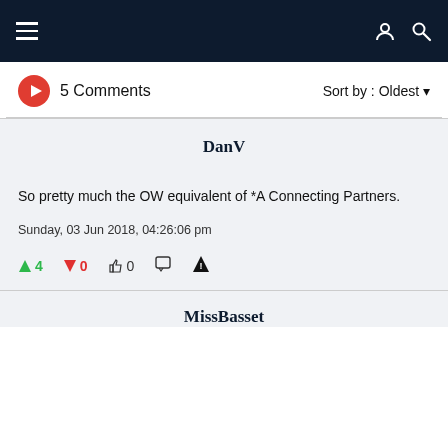Navigation bar with hamburger menu and user/search icons
5 Comments   Sort by : Oldest
DanV
So pretty much the OW equivalent of *A Connecting Partners.
Sunday, 03 Jun 2018, 04:26:06 pm
↑4  ↓0  👍0  💬  ⚠
MissBasset